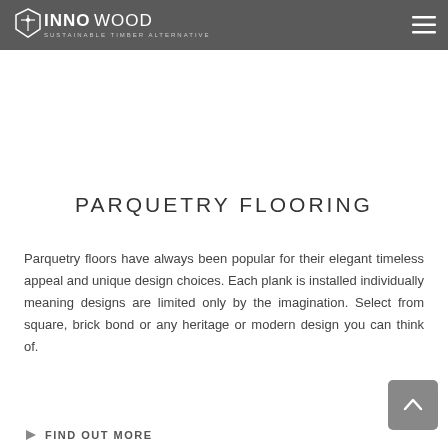INNOWOOD SUSTAINABLE TIMBER ALTERNATIVE
PARQUETRY FLOORING
Parquetry floors have always been popular for their elegant timeless appeal and unique design choices. Each plank is installed individually meaning designs are limited only by the imagination. Select from square, brick bond or any heritage or modern design you can think of.
FIND OUT MORE